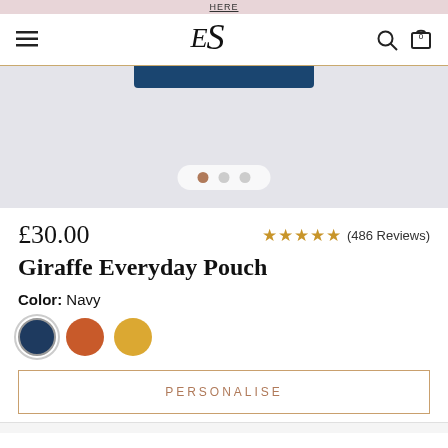HERE
[Figure (screenshot): E's logo navigation bar with hamburger menu, search and bag icons]
[Figure (photo): Product image area showing top of a giraffe pattern pouch in navy blue, on light grey background with carousel dots]
£30.00
★★★★★ (486 Reviews)
Giraffe Everyday Pouch
Color: Navy
[Figure (infographic): Three color swatches: navy blue (selected), orange/rust, and golden yellow]
PERSONALISE